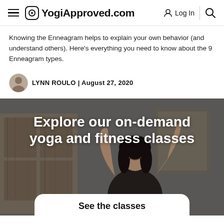YogiApproved.com — Log In
Knowing the Enneagram helps to explain your own behavior (and understand others). Here's everything you need to know about the 9 Enneagram types.
LYNN ROULO | August 27, 2020
[Figure (photo): A woman with long dark hair laughing with arms raised joyfully, standing in front of rustic wooden cabinet and framed art. Background is muted gray. Overlay text reads 'Explore our on-demand yoga and fitness classes' with a 'See the classes' button below.]